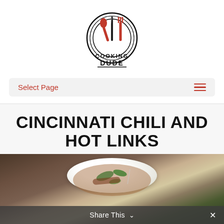[Figure (logo): Cooking Dude logo: circular emblem with crossed fork and spoon in red, concentric circles, text COOKING DUDE below]
Select Page
CINCINNATI CHILI AND HOT LINKS
ALL, BEEF & VEAL
[Figure (photo): Food photo showing a white plate with Cincinnati chili and hot links dish, green peppers/herbs visible, on a dark stone surface]
Share This